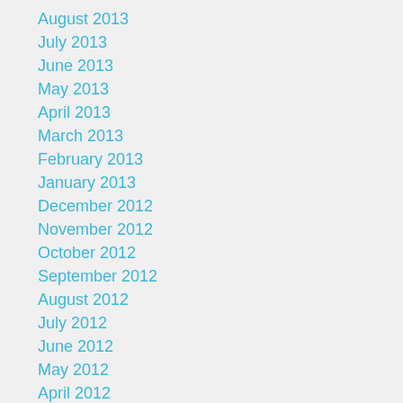August 2013
July 2013
June 2013
May 2013
April 2013
March 2013
February 2013
January 2013
December 2012
November 2012
October 2012
September 2012
August 2012
July 2012
June 2012
May 2012
April 2012
March 2012
February 2012
January 2012
December 2011